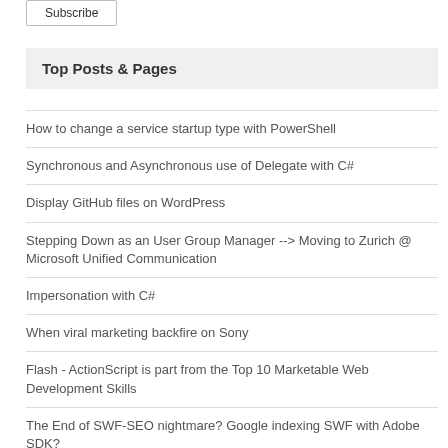Top Posts & Pages
How to change a service startup type with PowerShell
Synchronous and Asynchronous use of Delegate with C#
Display GitHub files on WordPress
Stepping Down as an User Group Manager --> Moving to Zurich @ Microsoft Unified Communication
Impersonation with C#
When viral marketing backfire on Sony
Flash - ActionScript is part from the Top 10 Marketable Web Development Skills
The End of SWF-SEO nightmare? Google indexing SWF with Adobe SDK?
6 years of blogging – time for a change!